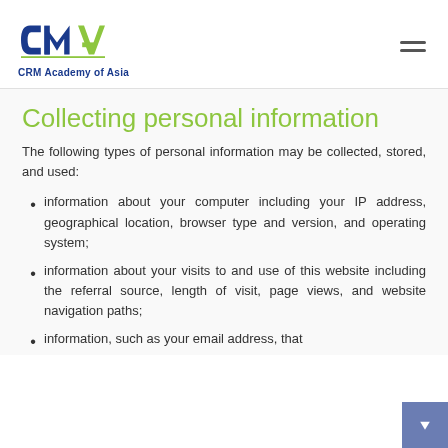CRM Academy of Asia
Collecting personal information
The following types of personal information may be collected, stored, and used:
information about your computer including your IP address, geographical location, browser type and version, and operating system;
information about your visits to and use of this website including the referral source, length of visit, page views, and website navigation paths;
information, such as your email address, that